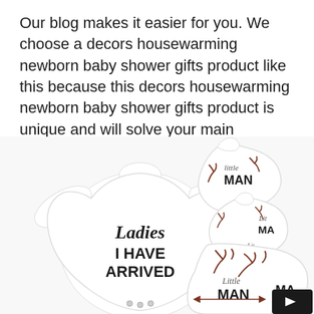Our blog makes it easier for you. We choose a decors housewarming newborn baby shower gifts product like this because this decors housewarming newborn baby shower gifts product is unique and will solve your main problem.
[Figure (photo): Product photo of baby clothing set: a white long-sleeve onesie with 'Ladies I HAVE ARRIVED' text in black script/print, two white baby hats with 'Little MAN' text and antler prints in dark red/brown, and matching pants with 'Little MAN' antler print, displayed on a white background. A small black navigation arrow button appears in the bottom right corner.]